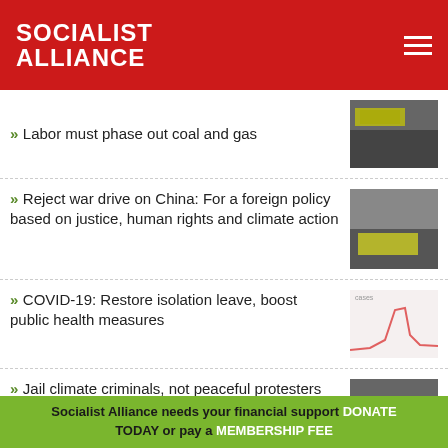SOCIALIST ALLIANCE
» Labor must phase out coal and gas
» Reject war drive on China: For a foreign policy based on justice, human rights and climate action
» COVID-19: Restore isolation leave, boost public health measures
» Jail climate criminals, not peaceful protesters
Green Left
Socialist Alliance needs your financial support DONATE TODAY or pay a MEMBERSHIP FEE